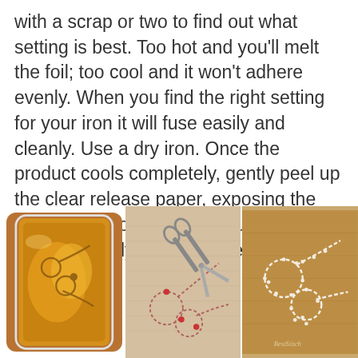with a scrap or two to find out what setting is best. Too hot and you'll melt the foil; too cool and it won't adhere evenly. When you find the right setting for your iron it will fuse easily and cleanly. Use a dry iron. Once the product cools completely, gently peel up the clear release paper, exposing the super shiny foil. Take a minute to enjoy just how nicely pliable the felt still is!
[Figure (photo): Three photos side by side: left shows a gold foil piece with a scissors design on it in a rounded square container; center shows beige fabric with a scissors outline being stitched with real scissors tool visible; right shows kraft brown paper with a white outlined scissors embroidery design.]